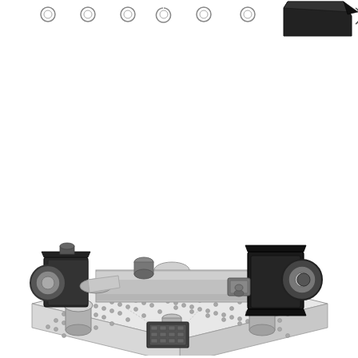[Figure (engineering-diagram): Top portion of a page showing a row of circular fastener holes/bolts along the top edge, with a partial mechanical bracket or connector visible at the top right corner.]
[Figure (engineering-diagram): Isometric 3D CAD rendering of a precision optical or mechanical assembly mounted on an optical breadboard with threaded holes. The assembly consists of two large cylindrical mounts (left and right), a central cylindrical tube/barrel, various mechanical components including actuators and connectors, a small black electronic control box at the bottom center, and multiple grey cylindrical support posts. The entire assembly sits on a flat baseplate with a regular grid of threaded holes.]